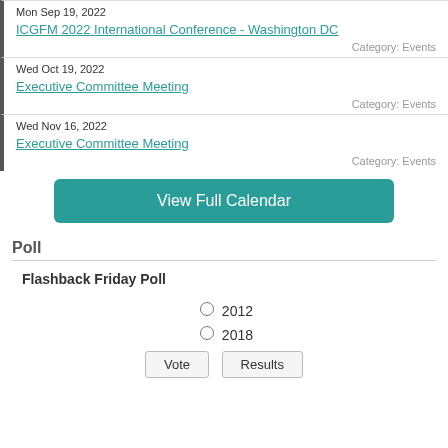Mon Sep 19, 2022 — ICGFM 2022 International Conference - Washington DC — Category: Events
Wed Oct 19, 2022 — Executive Committee Meeting — Category: Events
Wed Nov 16, 2022 — Executive Committee Meeting — Category: Events
View Full Calendar
Poll
Flashback Friday Poll
2012
2018
Vote   Results